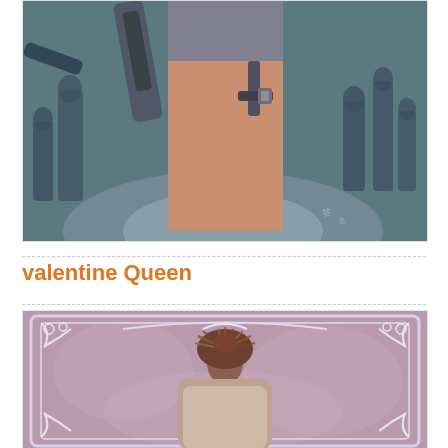[Figure (illustration): Digital illustration showing the lower torso and legs of a female warrior character with a holster strap on her thigh, holding a large weapon. Dark silhouetted figures surround her in the background, with a dramatic moody atmosphere in teal and brown tones.]
valentine Queen
[Figure (illustration): Illustration showing the back of a woman with a brown updo hairstyle, set against an ornate pink/mauve Art Nouveau-style decorative frame with scrollwork borders and swirling floral background patterns.]